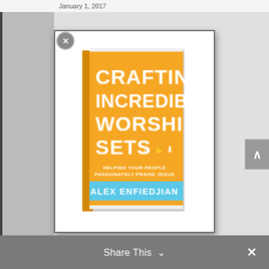January 1, 2017
[Figure (photo): Book cover of 'Crafting Incredible Worship Sets' by Alex Enfiedjian. Orange cover with white text, blue author name banner, subtitle 'Helping Your People Passionately Praise Jesus'. Shown as a 3D book with spine visible.]
Share This ˅  ×